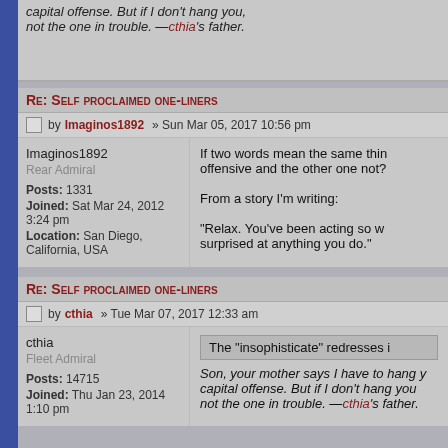capital offense. But if I don't hang you, I'm not the one in trouble. —cthia's father.
Re: Self proclaimed one-liners
Post by Imaginos1892 » Sun Mar 05, 2017 10:56 pm
Imaginos1892
Rear Admiral
Posts: 1331
Joined: Sat Mar 24, 2012 3:24 pm
Location: San Diego, California, USA
If two words mean the same thing, why is one offensive and the other one not?

From a story I'm writing:

"Relax. You've been acting so w... surprised at anything you do."
Re: Self proclaimed one-liners
Post by cthia » Tue Mar 07, 2017 12:33 am
cthia
Fleet Admiral
Posts: 14715
Joined: Thu Jan 23, 2014 1:10 pm
The "insophisticate" redresses i...
Son, your mother says I have to hang you. capital offense. But if I don't hang you... not the one in trouble. —cthia's father.